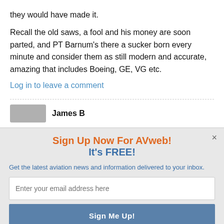they would have made it.
Recall the old saws, a fool and his money are soon parted, and PT Barnum's there a sucker born every minute and consider them as still modern and accurate, amazing that includes Boeing, GE, VG etc.
Log in to leave a comment
James B
Sign Up Now For AVweb!
It's FREE!
Get the latest aviation news and information delivered to your inbox.
Enter your email address here
Sign Me Up!